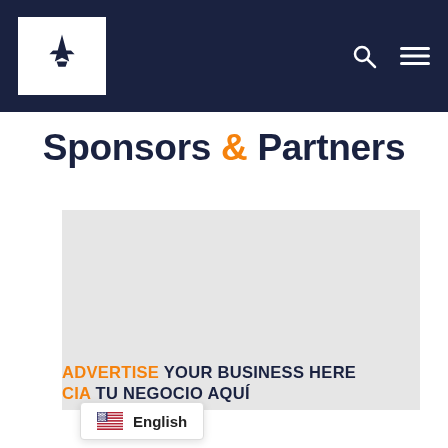Navigation bar with airplane logo, search icon, and menu icon
Sponsors & Partners
[Figure (other): Gray advertisement placeholder box]
ADVERTISE YOUR BUSINESS HERE CIA TU NEGOCIO AQUÍ
English